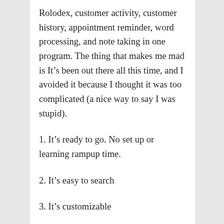Rolodex, customer activity, customer history, appointment reminder, word processing, and note taking in one program. The thing that makes me mad is It’s been out there all this time, and I avoided it because I thought it was too complicated (a nice way to say I was stupid).
1. It’s ready to go. No set up or learning rampup time.
2. It’s easy to search
3. It’s customizable